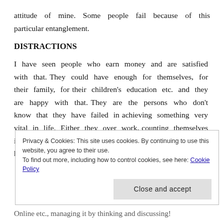attitude of mine. Some people fail because of this particular entanglement.
DISTRACTIONS
I have seen people who earn money and are satisfied with that. They could have enough for themselves, for their family, for their children's education etc. and they are happy with that. They are the persons who don't know that they have failed in achieving something very vital in life. Either they over work, counting themselves in the rat race of earning more and more or they are happy with whatever little they earn without any
Privacy & Cookies: This site uses cookies. By continuing to use this website, you agree to their use.
To find out more, including how to control cookies, see here: Cookie Policy
Close and accept
Online etc., managing it by thinking and discussing!